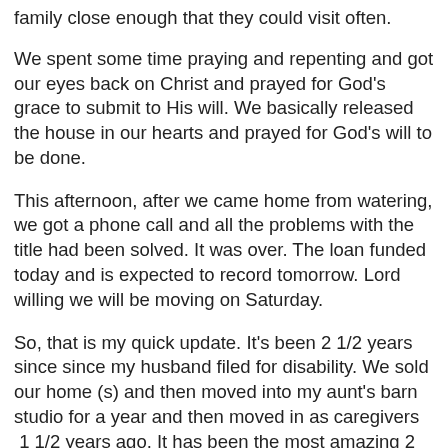family close enough that they could visit often.
We spent some time praying and repenting and got our eyes back on Christ and prayed for God's grace to submit to His will. We basically released the house in our hearts and prayed for God's will to be done.
This afternoon, after we came home from watering, we got a phone call and all the problems with the title had been solved. It was over. The loan funded today and is expected to record tomorrow. Lord willing we will be moving on Saturday.
So, that is my quick update. It's been 2 1/2 years since since my husband filed for disability. We sold our home (s) and then moved into my aunt's barn studio for a year and then moved in as caregivers
 1 1/2 years ago. It has been the most amazing 2 1/2 years as we've watched God provide time and time again. Absolutely amazing! I hope someday to sit down and share some of what the Lord has been teaching me. But, now is the time to PACK! :-)